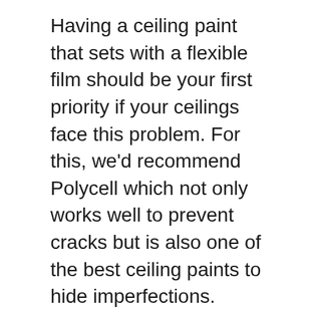Having a ceiling paint that sets with a flexible film should be your first priority if your ceilings face this problem. For this, we'd recommend Polycell which not only works well to prevent cracks but is also one of the best ceiling paints to hide imperfections.
This one coat ceiling paint is thick enough to cover cracks and once fully cured also prevents cracks from reappearing. It's definitely worth trying if you've got some hairline cracks in your ceiling.
The only downside to the product is that it's only available in white but personally I would only use this as a base coat and then use a different ceiling paint as a top coat to get a nicer looking finish.